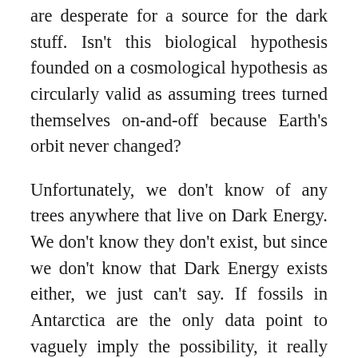are desperate for a source for the dark stuff. Isn't this biological hypothesis founded on a cosmological hypothesis as circularly valid as assuming trees turned themselves on-and-off because Earth's orbit never changed?
Unfortunately, we don't know of any trees anywhere that live on Dark Energy. We don't know they don't exist, but since we don't know that Dark Energy exists either, we just can't say. If fossils in Antarctica are the only data point to vaguely imply the possibility, it really isn't a good hypothesis.
Let's proceed in agreement with the researchers that these fossils are like trees to be used with sunlight and CO2 in at...